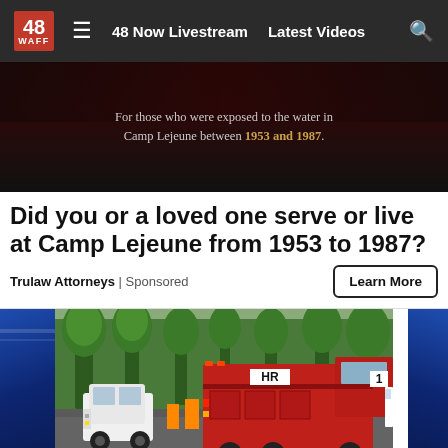48 WAFF | 48 Now Livestream | Latest Videos
[Figure (photo): WAFF 48 news website advertisement banner: dark background with text about Camp Lejeune water exposure 1953 and 1987]
Did you or a loved one serve or live at Camp Lejeune from 1953 to 1987?
Trulaw Attorneys | Sponsored
[Figure (photo): Emergency scene with red fire truck labeled HR 1 and a white SUV on a tree-lined road, with blue graphic banners on the sides]